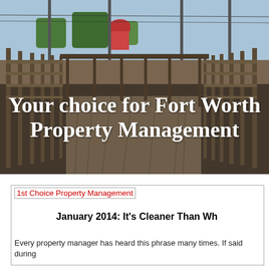[Figure (photo): Outdoor photo of a historic stockyard or cattle pen area with wooden fencing/gates in perspective, leading toward a building with a red dome in the background. Sky with trees visible. Text overlay reading 'Your choice for Fort Worth Property Management'.]
Your choice for Fort Worth Property Management
[Figure (logo): 1st Choice Property Management logo image (alt text visible)]
January 2014: It's Cleaner Than Wh
Every property manager has heard this phrase many times. If said during